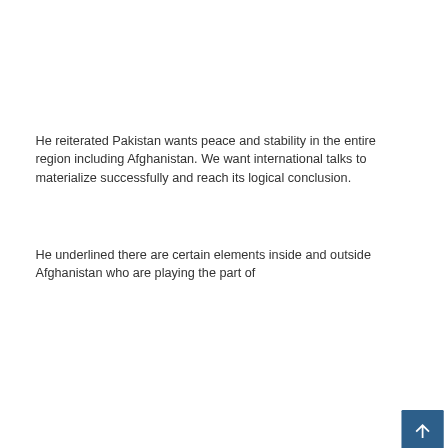He reiterated Pakistan wants peace and stability in the entire region including Afghanistan. We want international talks to materialize successfully and reach its logical conclusion.
He underlined there are certain elements inside and outside Afghanistan who are playing the part of